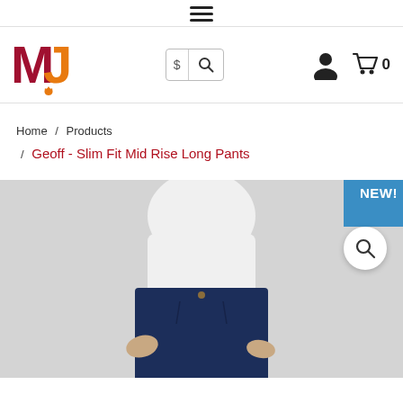Navigation menu bar with hamburger icon
[Figure (logo): MJ logo with red M and orange J letters with flame accent]
Search box with currency symbol S and magnifying glass icon
User account icon and cart icon with 0 items
Home / Products / Geoff - Slim Fit Mid Rise Long Pants
[Figure (photo): Man wearing white t-shirt and navy slim fit long pants with NEW! badge in top right corner and zoom magnifier icon]